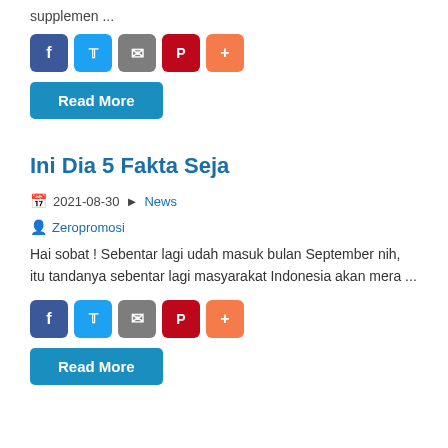supplemen ...
[Figure (other): Social share buttons: Facebook, Twitter, Email, Pinterest, Plus]
Read More
Ini Dia 5 Fakta Seja
2021-08-30  News
Zeropromosi
Hai sobat ! Sebentar lagi udah masuk bulan September nih, itu tandanya sebentar lagi masyarakat Indonesia akan mera ...
[Figure (other): Social share buttons: Facebook, Twitter, Email, Pinterest, Plus]
Read More